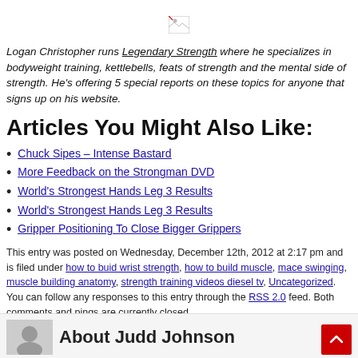[Figure (illustration): Small broken image icon centered on the page]
Logan Christopher runs Legendary Strength where he specializes in bodyweight training, kettlebells, feats of strength and the mental side of strength. He's offering 5 special reports on these topics for anyone that signs up on his website.
Articles You Might Also Like:
Chuck Sipes – Intense Bastard
More Feedback on the Strongman DVD
World's Strongest Hands Leg 3 Results
World's Strongest Hands Leg 3 Results
Gripper Positioning To Close Bigger Grippers
This entry was posted on Wednesday, December 12th, 2012 at 2:17 pm and is filed under how to buid wrist strength, how to build muscle, mace swinging, muscle building anatomy, strength training videos diesel tv, Uncategorized. You can follow any responses to this entry through the RSS 2.0 feed. Both comments and pings are currently closed.
About Judd Johnson